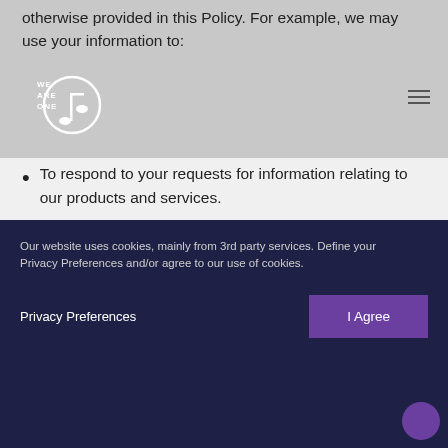We Are One [logo]
otherwise provided in this Policy. For example, we may use your information to:
To respond to your requests for information relating to our products and services.
To communicate with you.  We will send you messages about the availability of our Site, security, or other service-related issues. Please be aware that you cannot opt-out of receiving service messages from us, including security and legal notices.
For research and development efforts.  We use data, including public feedback, to research and develop the Site and the services and products we provide to you.
Our website uses cookies, mainly from 3rd party services. Define your Privacy Preferences and/or agree to our use of cookies.
Privacy Preferences
I Agree